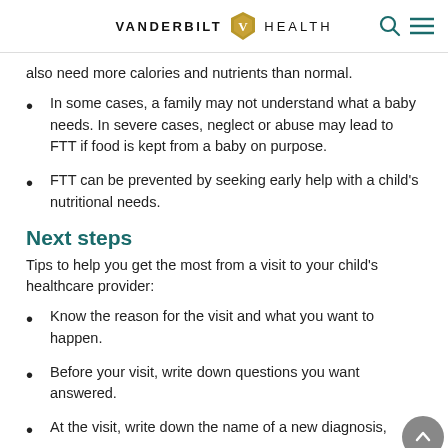VANDERBILT HEALTH
also need more calories and nutrients than normal.
In some cases, a family may not understand what a baby needs. In severe cases, neglect or abuse may lead to FTT if food is kept from a baby on purpose.
FTT can be prevented by seeking early help with a child's nutritional needs.
Next steps
Tips to help you get the most from a visit to your child's healthcare provider:
Know the reason for the visit and what you want to happen.
Before your visit, write down questions you want answered.
At the visit, write down the name of a new diagnosis,